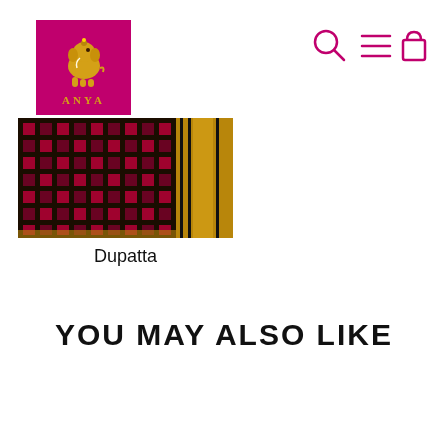[Figure (logo): Anya brand logo — magenta pink square with a golden elephant illustration and text ANYA below]
[Figure (other): Navigation icons: search (magnifying glass), menu (three lines), cart (bag) in pink/red color]
[Figure (photo): Photo of a Dupatta fabric — dark background with pink and green geometric/floral patterns and a gold border on the right side]
Dupatta
YOU MAY ALSO LIKE